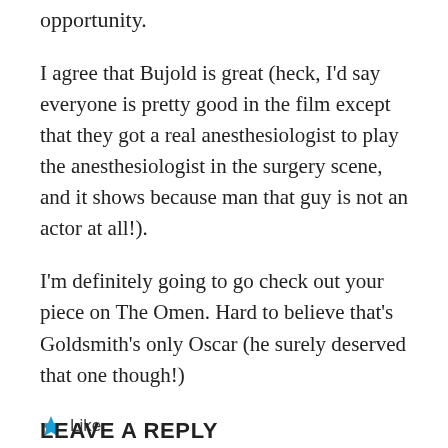opportunity.
I agree that Bujold is great (heck, I'd say everyone is pretty good in the film except that they got a real anesthesiologist to play the anesthesiologist in the surgery scene, and it shows because man that guy is not an actor at all!).
I'm definitely going to go check out your piece on The Omen. Hard to believe that's Goldsmith's only Oscar (he surely deserved that one though!)
Like
Reply
LEAVE A REPLY